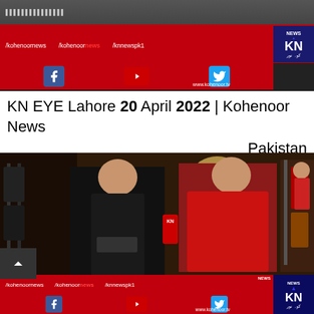[Figure (screenshot): Kohenoor News TV channel banner with social media handles /kohenoornews, /kohenoor news, /knnewspk1, KN News logo, Facebook, YouTube, Twitter icons, and www.kohenoor.tv URL on red background]
KN EYE Lahore 20 April 2022 | Kohenoor News Pakistan
[Figure (screenshot): Video still from Kohenoor News showing two men in a market/shop, one wearing black t-shirt and one in red shirt holding a microphone with KN logo. Bottom overlay shows Kohenoor News branding with social media handles and KN logo.]